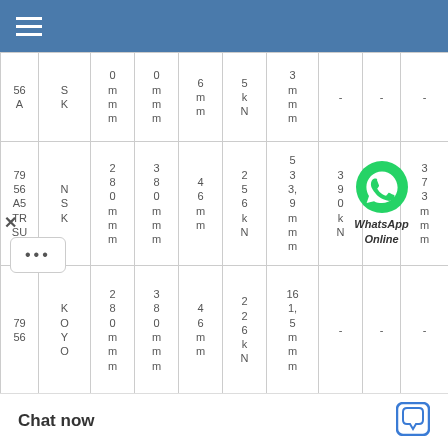| ... | S K | 0 mm m | 0 mm m | 6 mm m | 5 kN | 3 mm m | - | - | - |
| 79 56 A5 TR SU | N S K | 2 8 0 mm m | 3 8 0 mm m | 4 6 mm m | 2 5 6 kN | 5 3 3, 9 mm m | 3 9 0 kN | [WhatsApp Online] | 3 7 3 mm m |
| 79 56 | K O Y O | 2 8 0 mm m | 3 8 0 mm m | 4 6 mm m | 2 2 6 kN | 16 1, 5 mm m | - | - | - |
| ... |  |  |  |  |  | 5 3 3 | 4 1 |  | 3 7 |
Chat now
[Figure (other): WhatsApp Online chat icon with green phone logo and italic bold text 'WhatsApp Online']